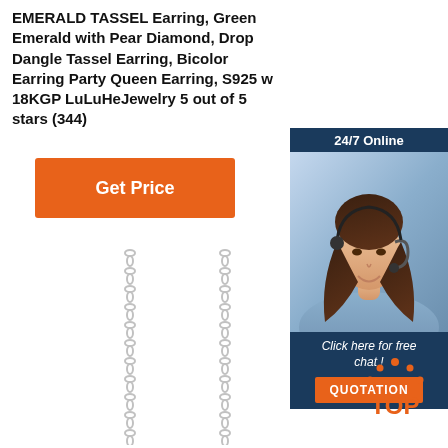EMERALD TASSEL Earring, Green Emerald with Pear Diamond, Drop Dangle Tassel Earring, Bicolor Earring Party Queen Earring, S925 w 18KGP LuLuHeJewelry 5 out of 5 stars (344)
Get Price
[Figure (photo): Customer service chat widget with '24/7 Online' header, photo of smiling woman with headset, 'Click here for free chat!' text and QUOTATION button]
[Figure (photo): Product photo showing silver chain tassel earrings hanging down on white background]
[Figure (other): TOP badge with orange dots forming an arch above the word TOP in orange text]